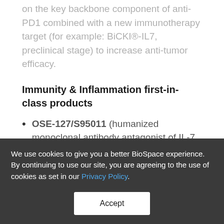on the key backbone component of anti-PD1 combined with a new immunotherapy target (for example: BiCKI®-IL7, preclinical stage) to increase anti-tumor efficacy.
Immunity & Inflammation first-in-class products
OSE-127/S95011 (humanized monoclonal antibody antagonist of IL-7 receptor): developed in partnership with Servier; positive
We use cookies to give you a better BioSpace experience. By continuing to use our site, you are agreeing to the use of cookies as set in our Privacy Policy.